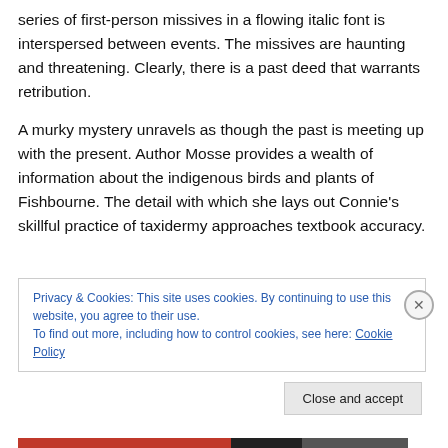series of first-person missives in a flowing italic font is interspersed between events. The missives are haunting and threatening. Clearly, there is a past deed that warrants retribution.
A murky mystery unravels as though the past is meeting up with the present. Author Mosse provides a wealth of information about the indigenous birds and plants of Fishbourne. The detail with which she lays out Connie’s skillful practice of taxidermy approaches textbook accuracy.
Privacy & Cookies: This site uses cookies. By continuing to use this website, you agree to their use.
To find out more, including how to control cookies, see here: Cookie Policy
Close and accept